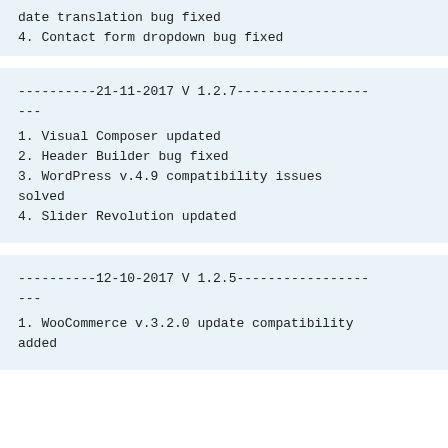date translation bug fixed
4. Contact form dropdown bug fixed
----------21-11-2017 V 1.2.7-----------------
---
1. Visual Composer updated
2. Header Builder bug fixed
3. WordPress v.4.9 compatibility issues solved
4. Slider Revolution updated
----------12-10-2017 V 1.2.5-----------------
---
1. WooCommerce v.3.2.0 update compatibility added